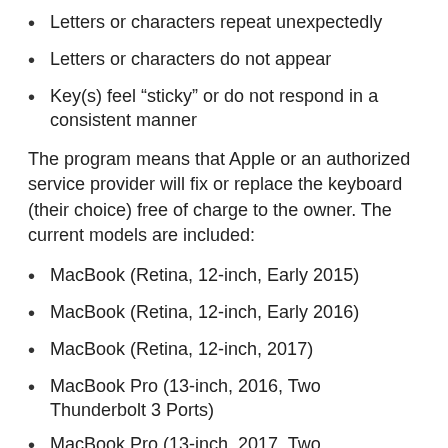Letters or characters repeat unexpectedly
Letters or characters do not appear
Key(s) feel “sticky” or do not respond in a consistent manner
The program means that Apple or an authorized service provider will fix or replace the keyboard (their choice) free of charge to the owner. The current models are included:
MacBook (Retina, 12-inch, Early 2015)
MacBook (Retina, 12-inch, Early 2016)
MacBook (Retina, 12-inch, 2017)
MacBook Pro (13-inch, 2016, Two Thunderbolt 3 Ports)
MacBook Pro (13-inch, 2017, Two Thunderbolt 3